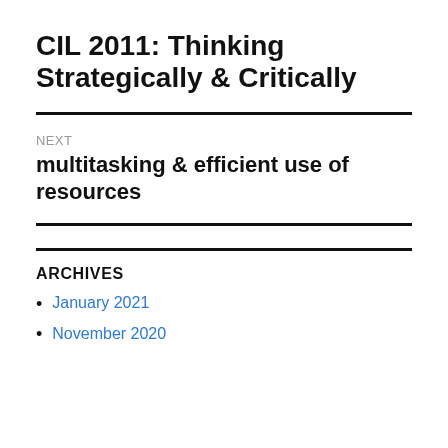CIL 2011: Thinking Strategically & Critically
NEXT
multitasking & efficient use of resources
ARCHIVES
January 2021
November 2020